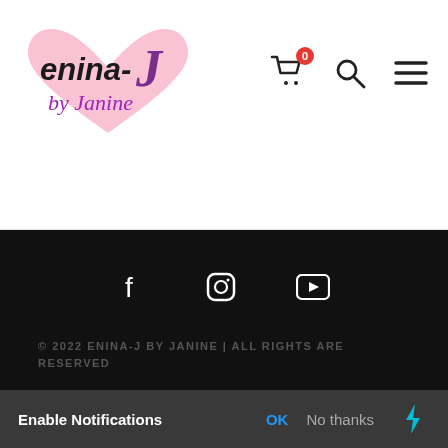[Figure (logo): Enina-J by Janine logo with pink heart background and stylized text]
[Figure (screenshot): Website header with cart icon (badge 0), search icon, and hamburger menu icon]
[Figure (screenshot): Footer social icons: Facebook, Instagram, YouTube on black background]
© 2022 ENINA-J BY JANINE | ALL RIGHTS ARE RESERVED
Enable Notifications  OK  No thanks